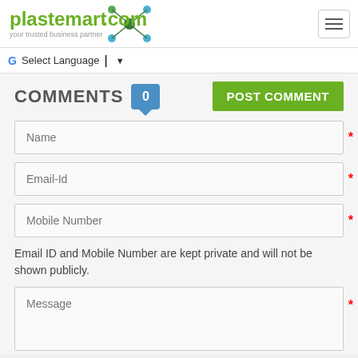[Figure (logo): Plastemart.com logo with network node graphic and tagline 'your trusted business partner']
[Figure (other): Hamburger menu button (three horizontal lines) in top right corner]
G Select Language ▼
COMMENTS 0 POST COMMENT
Name
Email-Id
Mobile Number
Email ID and Mobile Number are kept private and will not be shown publicly.
Message